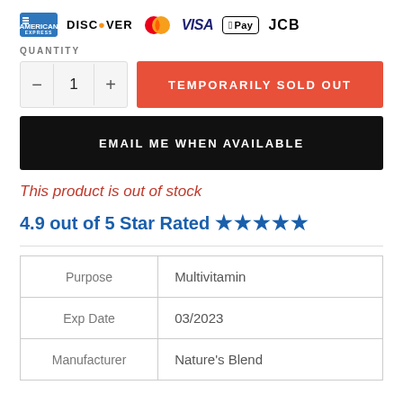[Figure (logo): Payment method icons: American Express, Discover, MasterCard, Visa, Apple Pay, JCB]
QUANTITY
TEMPORARILY SOLD OUT
EMAIL ME WHEN AVAILABLE
This product is out of stock
4.9 out of 5 Star Rated ★★★★★
|  |  |
| --- | --- |
| Purpose | Multivitamin |
| Exp Date | 03/2023 |
| Manufacturer | Nature's Blend |